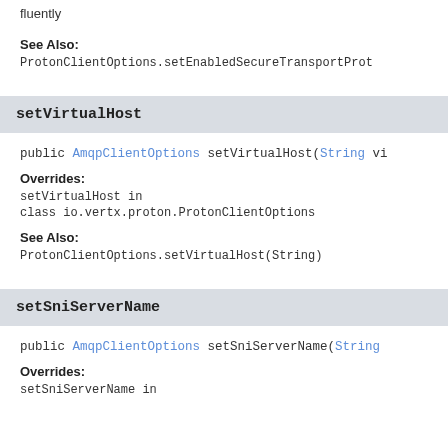fluently
See Also:
ProtonClientOptions.setEnabledSecureTransportProt…
setVirtualHost
public AmqpClientOptions setVirtualHost(String vi…
Overrides:
setVirtualHost in class io.vertx.proton.ProtonClientOptions
See Also:
ProtonClientOptions.setVirtualHost(String)
setSniServerName
public AmqpClientOptions setSniServerName(String…
Overrides:
setSniServerName in…